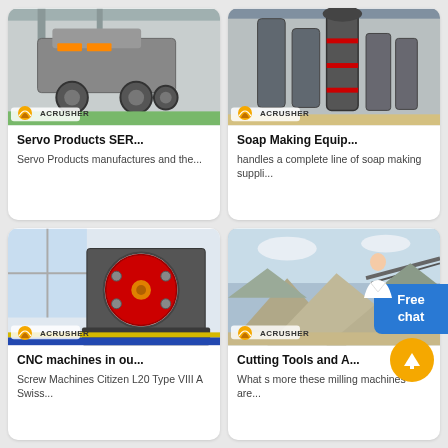[Figure (photo): Industrial mobile crusher machine with large wheels in a factory, Acrusher branded]
Servo Products SER...
Servo Products manufactures and the...
[Figure (photo): Industrial soap making equipment, tall cylindrical machines in a factory, Acrusher branded]
Soap Making Equip...
handles a complete line of soap making suppli...
[Figure (photo): CNC jaw crusher machine with red circular disc in a lab/factory setting, Acrusher branded]
CNC machines in ou...
Screw Machines Citizen L20 Type VIII A Swiss...
[Figure (photo): Outdoor quarry/mining site with gravel piles and conveyor equipment, Acrusher branded]
Cutting Tools and A...
What s more these milling machines are...